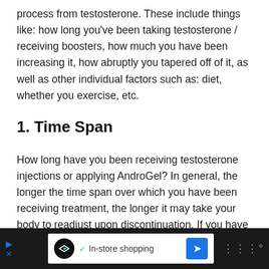process from testosterone. These include things like: how long you've been taking testosterone / receiving boosters, how much you have been increasing it, how abruptly you tapered off of it, as well as other individual factors such as: diet, whether you exercise, etc.
1. Time Span
How long have you been receiving testosterone injections or applying AndroGel? In general, the longer the time span over which you have been receiving treatment, the longer it may take your body to readjust upon discontinuation. If you have only been receiving testosterone therapy for a short duration and stop, you have a much greater chance of recovering without severe wi...
[Figure (other): Advertisement bar at bottom: dark background with In-store shopping ad]